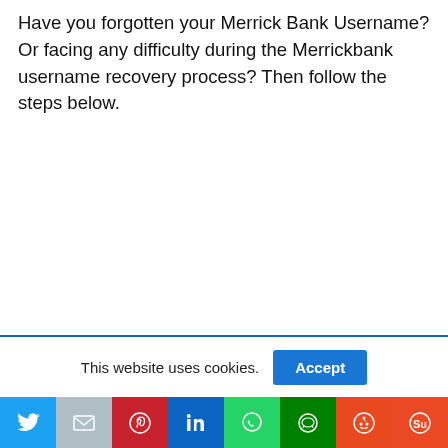Have you forgotten your Merrick Bank Username? Or facing any difficulty during the Merrickbank username recovery process? Then follow the steps below.
This website uses cookies.
[Figure (other): Social media sharing buttons bar: Twitter, Gmail, Pinterest, LinkedIn, WhatsApp, Line, Reddit, StumbleUpon]